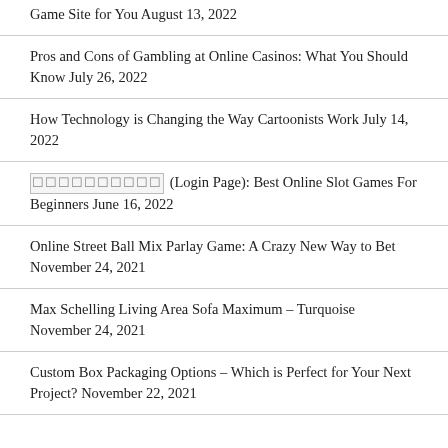Game Site for You August 13, 2022
Pros and Cons of Gambling at Online Casinos: What You Should Know July 26, 2022
How Technology is Changing the Way Cartoonists Work July 14, 2022
โปรแมชชีน (Login Page): Best Online Slot Games For Beginners June 16, 2022
Online Street Ball Mix Parlay Game: A Crazy New Way to Bet November 24, 2021
Max Schelling Living Area Sofa Maximum – Turquoise November 24, 2021
Custom Box Packaging Options – Which is Perfect for Your Next Project? November 22, 2021